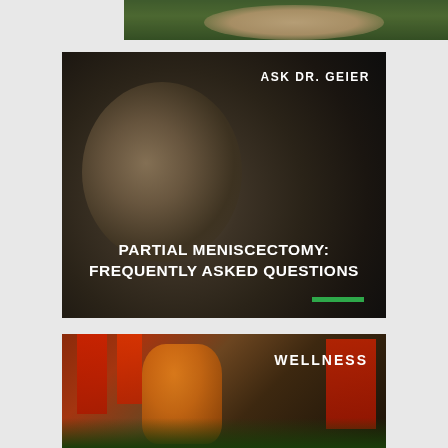[Figure (photo): Partial view of a person holding their arm or shoulder, green foliage background — cropped top portion of an article card]
ASK DR. GEIER
PARTIAL MENISCECTOMY: FREQUENTLY ASKED QUESTIONS
[Figure (photo): Soccer players gathered on a field, one person kneeling — partial bottom card with WELLNESS label]
WELLNESS